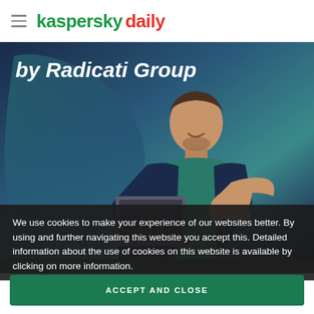kaspersky daily
[Figure (photo): A smiling man in a dark blazer and teal shirt, holding a laptop and giving a thumbs up, posed against a teal and dark blue abstract background with text 'by Radicati Group' visible at the top]
We use cookies to make your experience of our websites better. By using and further navigating this website you accept this. Detailed information about the use of cookies on this website is available by clicking on more information.
ACCEPT AND CLOSE